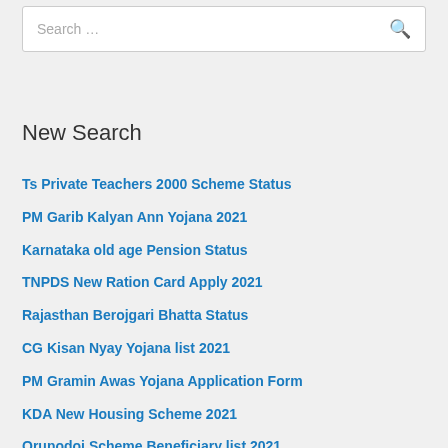Search …
New Search
Ts Private Teachers 2000 Scheme Status
PM Garib Kalyan Ann Yojana 2021
Karnataka old age Pension Status
TNPDS New Ration Card Apply 2021
Rajasthan Berojgari Bhatta Status
CG Kisan Nyay Yojana list 2021
PM Gramin Awas Yojana Application Form
KDA New Housing Scheme 2021
Orunodoi Scheme Beneficiary list 2021